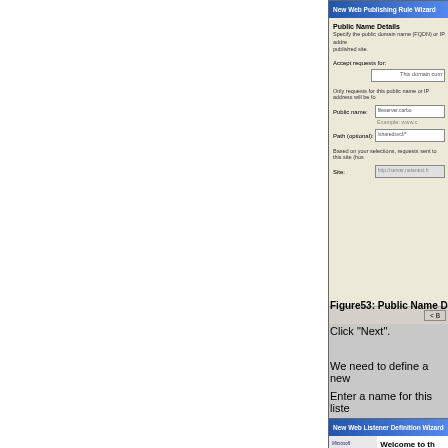[Figure (screenshot): New Web Publishing Rule Wizard dialog showing Public Name Details section with fields for Accept requests for, Public name, Path, and Site. The dialog has a gray Windows-style interface with input fields.]
Figure53: Public Name D
Click "Next".
We need to define a new
Enter a name for this liste
[Figure (screenshot): New Web Listener Definition Wizard dialog showing welcome screen with Microsoft Internet Security & Acceleration Server 2006 logo and welcome text about the Web Listener Wizard.]